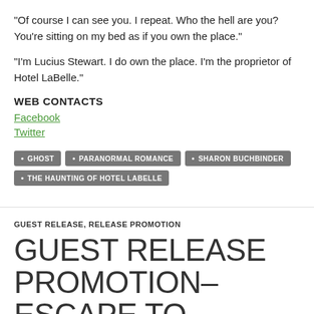“Of course I can see you. I repeat. Who the hell are you? You’re sitting on my bed as if you own the place.”
“I’m Lucius Stewart. I do own the place. I’m the proprietor of Hotel LaBelle.”
WEB CONTACTS
Facebook
Twitter
GHOST
PARANORMAL ROMANCE
SHARON BUCHBINDER
THE HAUNTING OF HOTEL LABELLE
GUEST RELEASE, RELEASE PROMOTION
GUEST RELEASE PROMOTION–ESCAPE TO